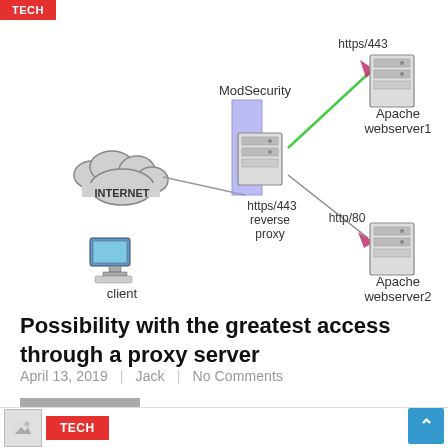[Figure (network-graph): Network diagram showing INTERNET cloud connected to a client computer, then to a reverse proxy server (https/443) protected by ModSecurity, which connects via https/443 to Apache webserver1 and via http/80 to Apache webserver2.]
Possibility with the greatest access through a proxy server
April 13, 2019 | Jack | No Comments